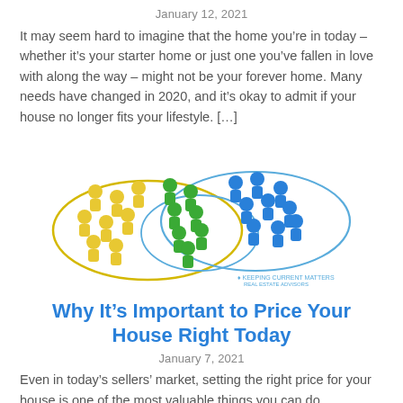January 12, 2021
It may seem hard to imagine that the home you’re in today – whether it’s your starter home or just one you’ve fallen in love with along the way – might not be your forever home. Many needs have changed in 2020, and it’s okay to admit if your house no longer fits your lifestyle. […]
[Figure (illustration): Illustration of yellow, green, and blue game pawns grouped in overlapping circles representing buyer-seller market overlap, with a small logo and text at bottom right.]
Why It’s Important to Price Your House Right Today
January 7, 2021
Even in today’s sellers’ market, setting the right price for your house is one of the most valuable things you can do. According to the U.S. Economic Outlook by